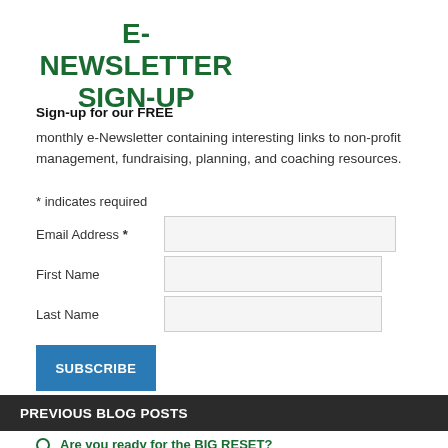E-NEWSLETTER SIGN-UP
Sign-up for our FREE monthly e-Newsletter containing interesting links to non-profit management, fundraising, planning, and coaching resources.
* indicates required
Email Address *
First Name
Last Name
SUBSCRIBE
PREVIOUS BLOG POSTS
Are you ready for the BIG RESET?